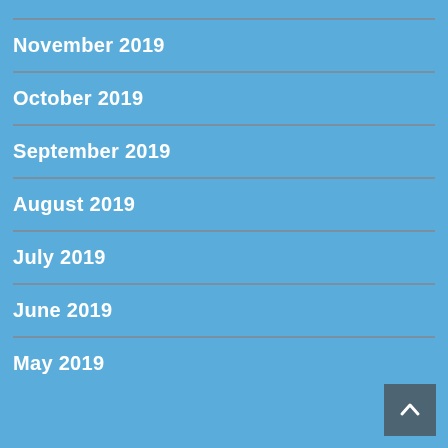November 2019
October 2019
September 2019
August 2019
July 2019
June 2019
May 2019